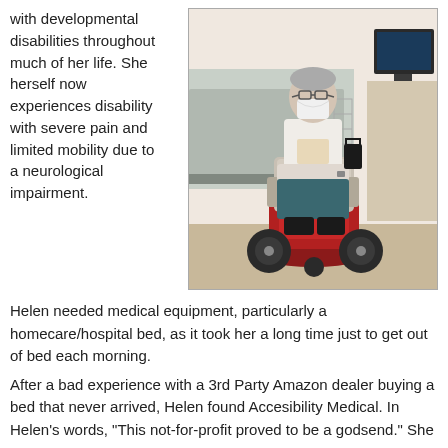with developmental disabilities throughout much of her life. She herself now experiences disability with severe pain and limited mobility due to a neurological impairment.
[Figure (photo): A person wearing a face mask and white top seated in a red motorized wheelchair/scooter inside a room with a bed and computer equipment visible in the background.]
Helen needed medical equipment, particularly a homecare/hospital bed, as it took her a long time just to get out of bed each morning.
After a bad experience with a 3rd Party Amazon dealer buying a bed that never arrived, Helen found Accesibility Medical. In Helen's words, "This not-for-profit proved to be a godsend." She